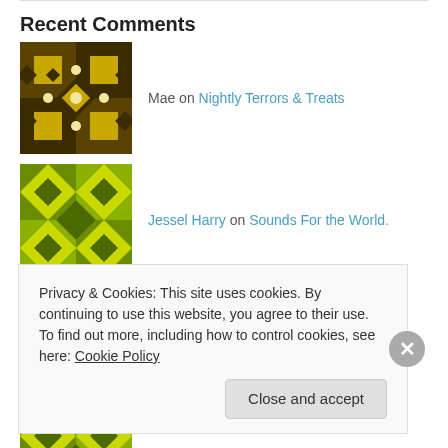Recent Comments
Mae on Nightly Terrors & Treats
Jessel Harry on Sounds For the World.
portsarecalling on Sounds For the World.
Jessel Harry on Sounds For the World.
Privacy & Cookies: This site uses cookies. By continuing to use this website, you agree to their use.
To find out more, including how to control cookies, see here: Cookie Policy
Close and accept